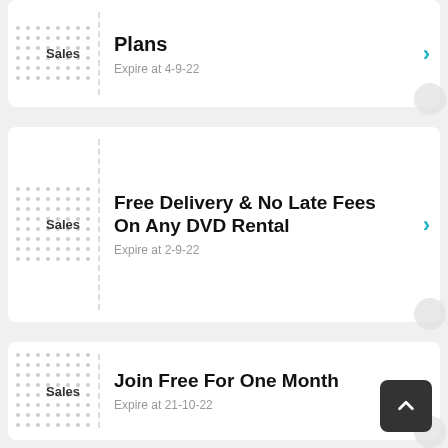Sales — Subscription On Any Plans — Expire at 4-9-22
Sales — Free Delivery & No Late Fees On Any DVD Rental — Expire at 2-9-22
Sales — Join Free For One Month — Expire at 21-10-22